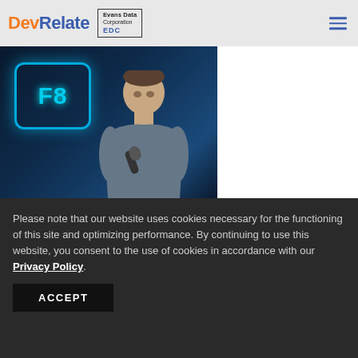[Figure (logo): DevRelate logo with orange 'Dev' and blue 'Relate' text, plus Evans Data Corporation EDC logo box]
[Figure (photo): Person speaking at Facebook F8 developer conference, with blue F8 sign in background, and Microsoft branding at bottom]
Please note that our website uses cookies necessary for the functioning of this site and optimizing performance. By continuing to use this website, you consent to the use of cookies in accordance with our Privacy Policy.